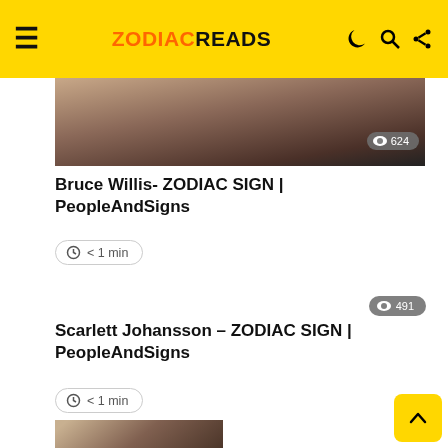ZODIACREADS
[Figure (photo): Partial photo of Bruce Willis at top of first article card]
624
Bruce Willis- ZODIAC SIGN | PeopleAndSigns
< 1 min
491
Scarlett Johansson – ZODIAC SIGN | PeopleAndSigns
< 1 min
[Figure (photo): Partial photo of another person at bottom of page (third article card)]